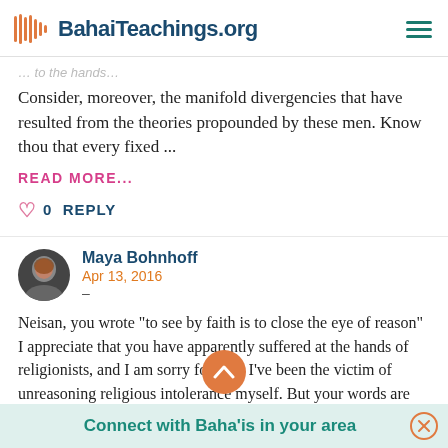BahaiTeachings.org
Consider, moreover, the manifold divergencies that have resulted from the theories propounded by these men. Know thou that every fixed ...
READ MORE...
0  REPLY
Maya Bohnhoff
Apr 13, 2016
–
Neisan, you wrote "to see by faith is to close the eye of reason"
I appreciate that you have apparently suffered at the hands of religionists, and I am sorry for that. I've been the victim of unreasoning religious intolerance myself. But your words are neither true nor helpful. Faith and reason are not odds and never have
Connect with Baha'is in your area